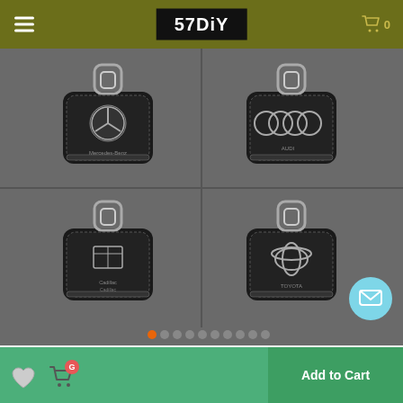57DiY — Cart 0
[Figure (photo): Four black leather car key cases with logos: Mercedes-Benz (top-left), Audi (top-right), Cadillac (bottom-left), Toyota (bottom-right). Each case has a zipper and metal keychain clip.]
🔑Car Key case,Genuine Leather Car Smart Key🔑
Item NO.: 6283417321821